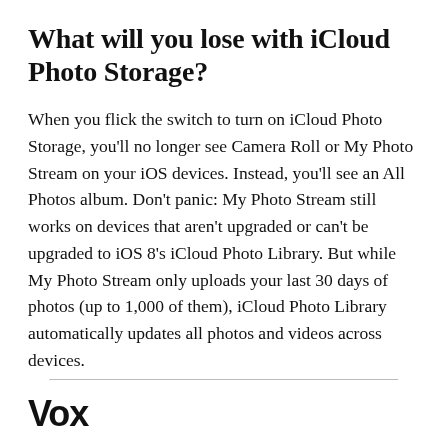What will you lose with iCloud Photo Storage?
When you flick the switch to turn on iCloud Photo Storage, you'll no longer see Camera Roll or My Photo Stream on your iOS devices. Instead, you'll see an All Photos album. Don't panic: My Photo Stream still works on devices that aren't upgraded or can't be upgraded to iOS 8's iCloud Photo Library. But while My Photo Stream only uploads your last 30 days of photos (up to 1,000 of them), iCloud Photo Library automatically updates all photos and videos across devices.
Vox